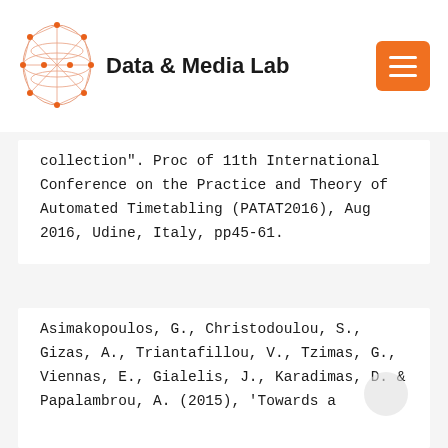[Figure (logo): Data & Media Lab logo: geometric network graph sphere with orange nodes and lines, followed by bold text 'Data & Media Lab']
collection". Proc of 11th International Conference on the Practice and Theory of Automated Timetabling (PATAT2016), Aug 2016, Udine, Italy, pp45-61.
Asimakopoulos, G., Christodoulou, S., Gizas, A., Triantafillou, V., Tzimas, G., Viennas, E., Gialelis, J., Karadimas, D. & Papalambrou, A. (2015), 'Towards a